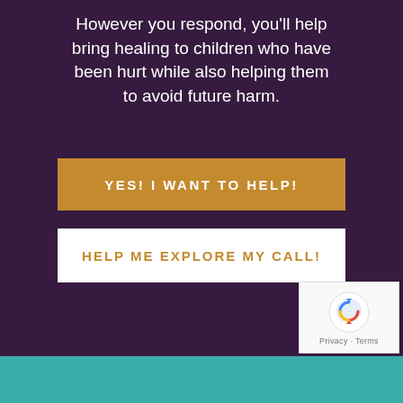However you respond, you'll help bring healing to children who have been hurt while also helping them to avoid future harm.
YES! I WANT TO HELP!
HELP ME EXPLORE MY CALL!